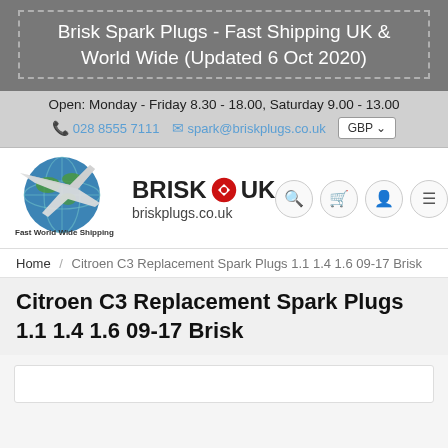Brisk Spark Plugs - Fast Shipping UK & World Wide (Updated 6 Oct 2020)
Open: Monday - Friday 8.30 - 18.00, Saturday 9.00 - 13.00
028 8555 7111  spark@briskplugs.co.uk  GBP
[Figure (logo): Brisk UK logo with globe/aircraft image and text 'BRISK UK briskplugs.co.uk Fast World Wide Shipping']
Home / Citroen C3 Replacement Spark Plugs 1.1 1.4 1.6 09-17 Brisk
Citroen C3 Replacement Spark Plugs 1.1 1.4 1.6 09-17 Brisk